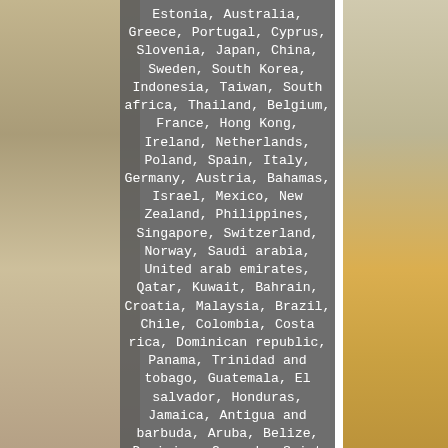Estonia, Australia, Greece, Portugal, Cyprus, Slovenia, Japan, China, Sweden, South Korea, Indonesia, Taiwan, South africa, Thailand, Belgium, France, Hong Kong, Ireland, Netherlands, Poland, Spain, Italy, Germany, Austria, Bahamas, Israel, Mexico, New Zealand, Philippines, Singapore, Switzerland, Norway, Saudi arabia, United arab emirates, Qatar, Kuwait, Bahrain, Croatia, Malaysia, Brazil, Chile, Colombia, Costa rica, Dominican republic, Panama, Trinidad and tobago, Guatemala, El salvador, Honduras, Jamaica, Antigua and barbuda, Aruba, Belize, Dominica, Grenada, Saint kitts and nevis, Saint lucia, Montserrat, Turks and caicos islands, Barbados, Bangladesh, Bermuda, Brunei